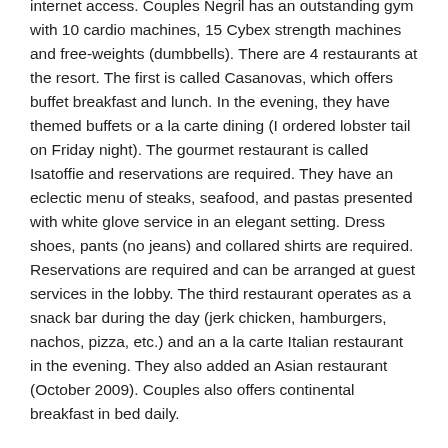internet access. Couples Negril has an outstanding gym with 10 cardio machines, 15 Cybex strength machines and free-weights (dumbbells). There are 4 restaurants at the resort. The first is called Casanovas, which offers buffet breakfast and lunch. In the evening, they have themed buffets or a la carte dining (I ordered lobster tail on Friday night). The gourmet restaurant is called Isatoffie and reservations are required. They have an eclectic menu of steaks, seafood, and pastas presented with white glove service in an elegant setting. Dress shoes, pants (no jeans) and collared shirts are required. Reservations are required and can be arranged at guest services in the lobby. The third restaurant operates as a snack bar during the day (jerk chicken, hamburgers, nachos, pizza, etc.) and an a la carte Italian restaurant in the evening. They also added an Asian restaurant (October 2009). Couples also offers continental breakfast in bed daily.
The beach at Couples is outstanding! It's long (nice for walking),